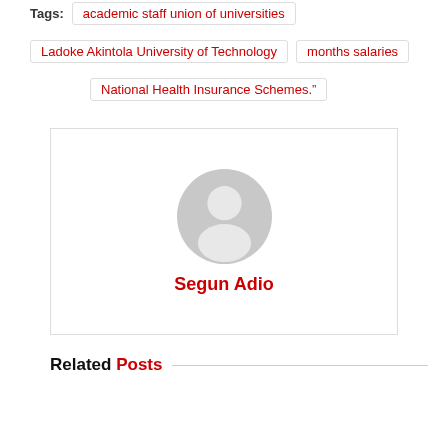Tags: academic staff union of universities  Ladoke Akintola University of Technology  months salaries  National Health Insurance Schemes.”
[Figure (illustration): Default user avatar placeholder — grey silhouette of a person on a white background inside a bordered box]
Segun Adio
Related Posts